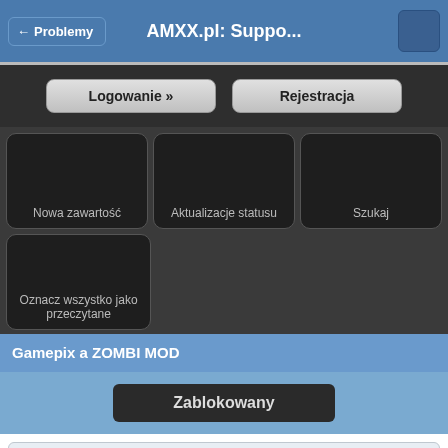← Problemy   AMXX.pl: Suppo...
Logowanie »   Rejestracja
[Figure (screenshot): Grid of dark rounded tiles: Nowa zawartość, Aktualizacje statusu, Szukaj, Oznacz wszystko jako przeczytane]
Gamepix a ZOMBI MOD
Zablokowany
gagarin17
02.10.2010